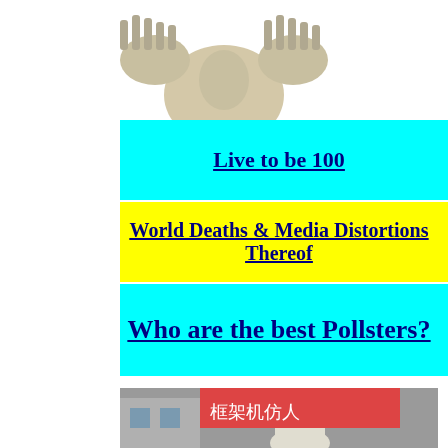[Figure (photo): Robot/android figure cropped at top of page showing mechanical hands and padded torso]
Live to be 100
World Deaths & Media Distortions Thereof
Who are the best Pollsters?
Baby and Mecha projects Several groups are building either baby androids or giant androids which are called Mechas.
Land Walker is here
[Figure (photo): Photograph of a large mecha/robot machine outdoors with Japanese text signage in background]